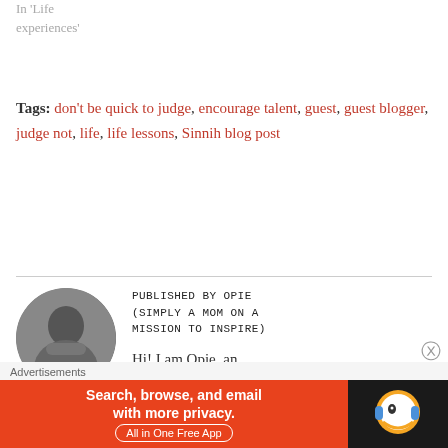In 'Life experiences'
Tags: don't be quick to judge, encourage talent, guest, guest blogger, judge not, life, life lessons, Sinnih blog post
PUBLISHED BY OPIE (SIMPLY A MOM ON A MISSION TO INSPIRE)
Hi! I am Opie, an introverted mother of two
Advertisements
[Figure (photo): DuckDuckGo advertisement banner: orange background with text 'Search, browse, and email with more privacy. All in One Free App' and DuckDuckGo logo on dark background]